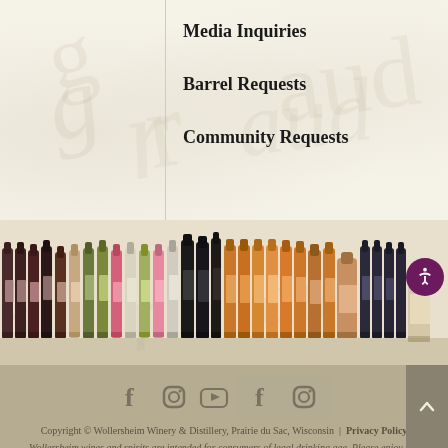Media Inquiries
Barrel Requests
Community Requests
[Figure (illustration): A row of wine and spirits bottles from Wollersheim Winery & Distillery displayed in a line, various colors and labels, against a tan/cream textured background with cursive script watermark.]
[Figure (infographic): Footer social media icons: Facebook, Instagram, YouTube icons on left; Facebook and Instagram icons on right with highlighted background. Scroll-to-top button on far right.]
Copyright © Wollersheim Winery & Distillery, Prairie du Sac, Wisconsin | Privacy Policy
Wollersheim wines and spirits are intended for consumers of legal drinking age. Please enjoy our products responsibly.